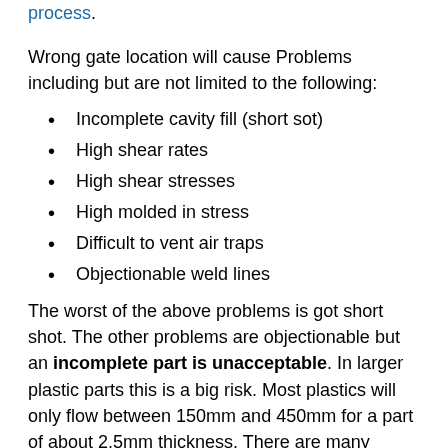process.
Wrong gate location will cause Problems including but are not limited to the following:
Incomplete cavity fill (short sot)
High shear rates
High shear stresses
High molded in stress
Difficult to vent air traps
Objectionable weld lines
The worst of the above problems is got short shot. The other problems are objectionable but an incomplete part is unacceptable. In larger plastic parts this is a big risk. Most plastics will only flow between 150mm and 450mm for a part of about 2.5mm thickness. There are many factors that affect how far a plastic will flow in a mold cavity. Other critical parameters tested by the gate